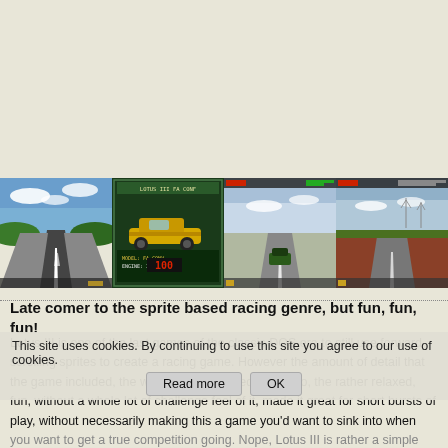[Figure (screenshot): Four side-by-side screenshots of Lotus III DOS racing game showing road, car selection screen, and racing scenes]
Late comer to the sprite based racing genre, but fun, fun, fun!
Lotus III is one of the last games of the classic DOS era to still use forward scrolling sprites to create a racing game. However the amount of detail that the game included, the way it was produced, and also, the rather relaxed, fun, without a whole lot of challenge feel of it, made it great for short bursts of play, without necessarily making this a game you'd want to sink into when you want to get a true competition going. Nope, Lotus III is rather a simple game that sees you drive of an endless track (rarely ever touching the speed, ping when you see a gas stop in order to refill and be able to continue your journey. It was one of those...
This site uses cookies. By continuing to use this site you agree to our use of cookies.